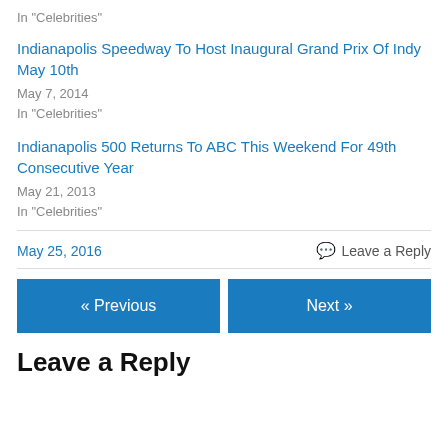In "Celebrities"
Indianapolis Speedway To Host Inaugural Grand Prix Of Indy May 10th
May 7, 2014
In "Celebrities"
Indianapolis 500 Returns To ABC This Weekend For 49th Consecutive Year
May 21, 2013
In "Celebrities"
May 25, 2016
Leave a Reply
« Previous
Next »
Leave a Reply